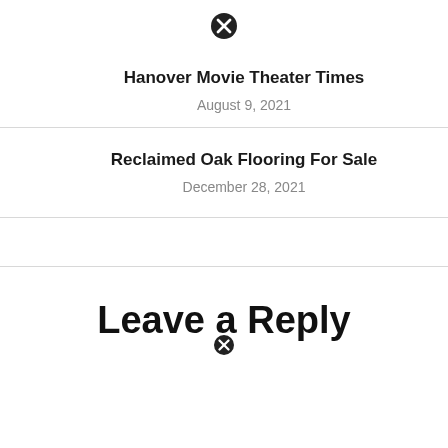[Figure (other): Broken image icon (circle with X) above first card]
Hanover Movie Theater Times
August 9, 2021
Reclaimed Oak Flooring For Sale
December 28, 2021
Leave a Reply